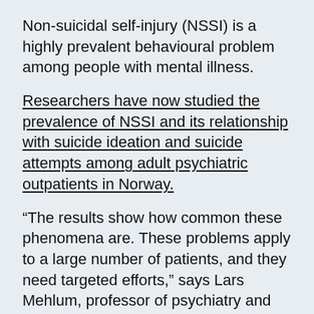Non-suicidal self-injury (NSSI) is a highly prevalent behavioural problem among people with mental illness.
Researchers have now studied the prevalence of NSSI and its relationship with suicide ideation and suicide attempts among adult psychiatric outpatients in Norway.
“The results show how common these phenomena are. These problems apply to a large number of patients, and they need targeted efforts,” says Lars Mehlum, professor of psychiatry and leader of the National Centre for Suicide Research and Prevention, Norway.
→ Study: Self-injury and suicide